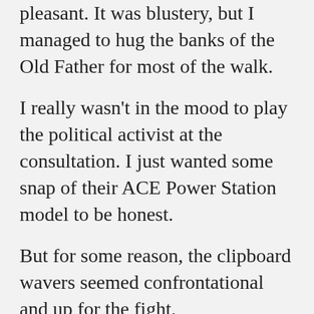pleasant. It was blustery, but I managed to hug the banks of the Old Father for most of the walk.
I really wasn't in the mood to play the political activist at the consultation. I just wanted some snap of their ACE Power Station model to be honest.
But for some reason, the clipboard wavers seemed confrontational and up for the fight.
I was knackered after the Park Run / lovely lido / walk.
Please go away. Just let me take some photos.
They insisted on asking me about